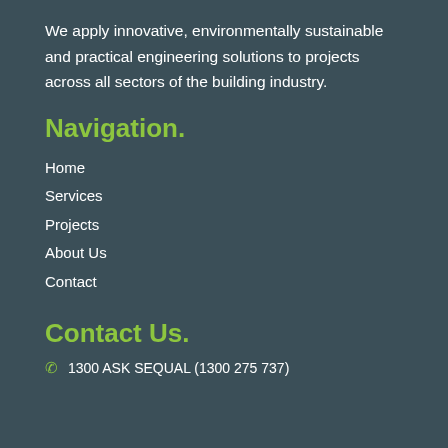We apply innovative, environmentally sustainable and practical engineering solutions to projects across all sectors of the building industry.
Navigation.
Home
Services
Projects
About Us
Contact
Contact Us.
1300 ASK SEQUAL (1300 275 737)